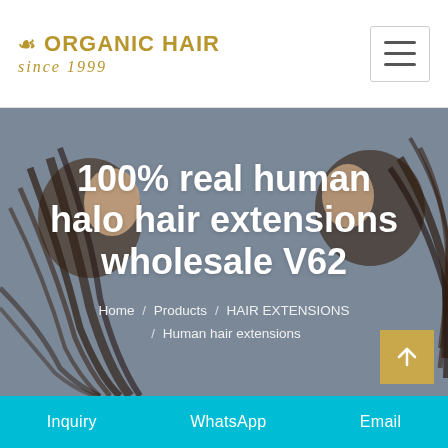[Figure (logo): Organic Hair since 1999 logo in gold/olive color with decorative leaf icon]
[Figure (illustration): Hero banner with illustrated women with long dark flowing hair on a blue-grey background]
100% real human halo hair extensions wholesale V62
Home / Products / HAIR EXTENSIONS / Human hair extensions
Inquiry   WhatsApp   Email